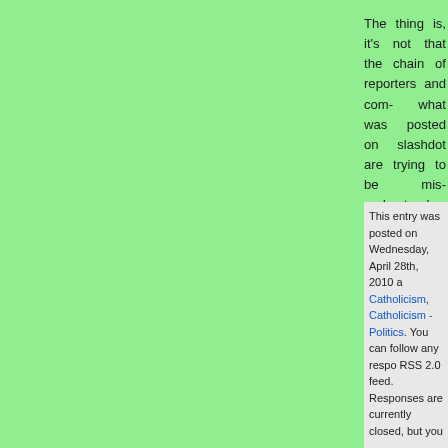The thing is, it's not that the chain of reporters and com- what was posted on slashdot are trying to be mis- understand enough about Catholicism to understand b- They know when Ralph Nader says that a certain car is not saying that cars themselves are bad, just that they m- But when they hear the equivalent thing from the Pop- says cars are bad". I've done reporting work and I know time to reflect on what's said. There's deadlines to extremely well tuned to the context from which the Pop- to be tone-deaf to the underlying point. They don't have not criticizing the Internet itself, but only the risks that g- have risks that go along with it.
So I encourage everyone, when you read a headline Pope", don't take it at face value. Do a little digging and usually not that long. Heck, even get a hold of me material. You may still come away significantly disagree at least be disagreeing with what he actually said, not th- version of it. And everyone will be far better off for it.
This entry was posted on Wednesday, April 28th, 2010 a Catholicism, Catholicism - Politics. You can follow any respo RSS 2.0 feed. Responses are currently closed, but you